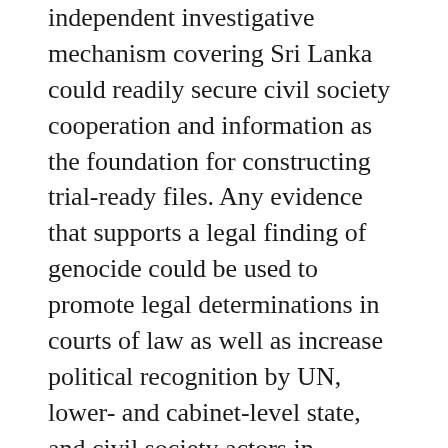independent investigative mechanism covering Sri Lanka could readily secure civil society cooperation and information as the foundation for constructing trial-ready files. Any evidence that supports a legal finding of genocide could be used to promote legal determinations in courts of law as well as increase political recognition by UN, lower- and cabinet-level state, and civil society actors in accordance with Tamil demands.
Tamils have finished their tenth year without a modicum of justice as a result of not only the GoSL's lack of political will, but also an